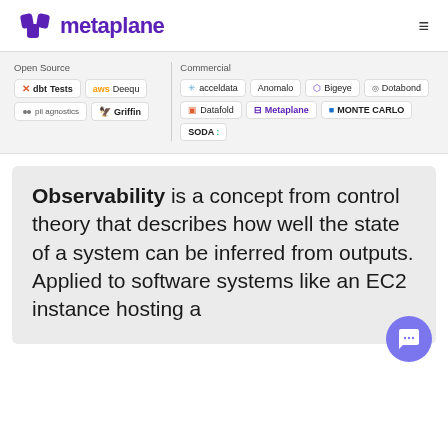metaplane
[Figure (screenshot): Grid of data quality tool logos including dbt Tests, Deequ, acceldata, Anomalo, Bigeye, Databond, pii-agnostics, Griffin, Datafold, Metaplane, Monte Carlo, SODA]
Observability is a concept from control theory that describes how well the state of a system can be inferred from outputs. Applied to software systems like an EC2 instance hosting a